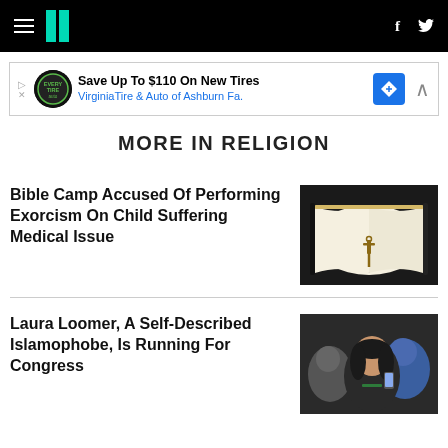HuffPost navigation with hamburger menu, logo, Facebook and Twitter icons
[Figure (infographic): Advertisement banner: Save Up To $110 On New Tires - Virginia Tire & Auto of Ashburn Fa.]
MORE IN RELIGION
Bible Camp Accused Of Performing Exorcism On Child Suffering Medical Issue
[Figure (photo): Hands holding open a Bible with a wooden cross pendant hanging from it]
Laura Loomer, A Self-Described Islamophobe, Is Running For Congress